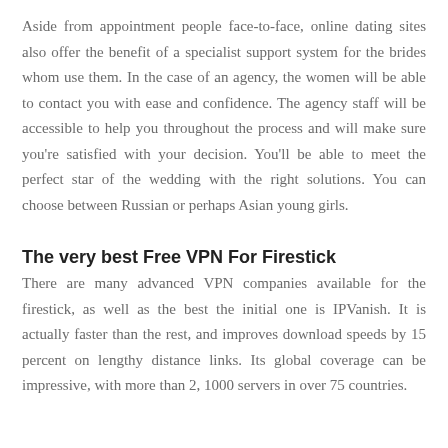Aside from appointment people face-to-face, online dating sites also offer the benefit of a specialist support system for the brides whom use them. In the case of an agency, the women will be able to contact you with ease and confidence. The agency staff will be accessible to help you throughout the process and will make sure you’re satisfied with your decision. You’ll be able to meet the perfect star of the wedding with the right solutions. You can choose between Russian or perhaps Asian young girls.
The very best Free VPN For Firestick
There are many advanced VPN companies available for the firestick, as well as the best the initial one is IPVanish. It is actually faster than the rest, and improves download speeds by 15 percent on lengthy distance links. Its global coverage can be impressive, with more than 2, 1000 servers in over 75 countries.